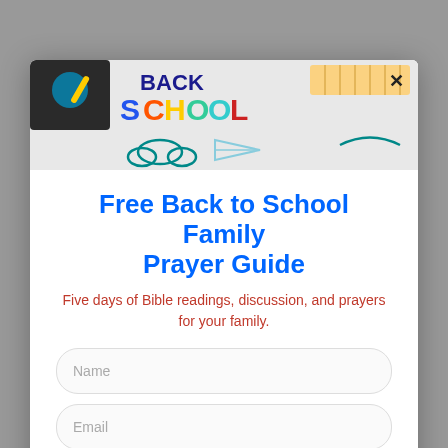[Figure (illustration): Back to school colorful banner image with school supplies, text 'Back to School' in colorful letters, clouds, and a paper airplane]
Free Back to School Family Prayer Guide
Five days of Bible readings, discussion, and prayers for your family.
Name
Email
Yes, please!